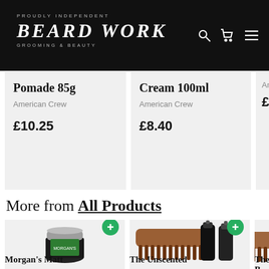PROUDLY INDEPENDENT · BEARD WORK · GROOMING & BEAUTY
Pomade 85g
American Crew
£10.25
Cream 100ml
American Crew
£8.40
Ameri... £10.5...
More from All Products
Morgan's Matt
The Unscented
The B...